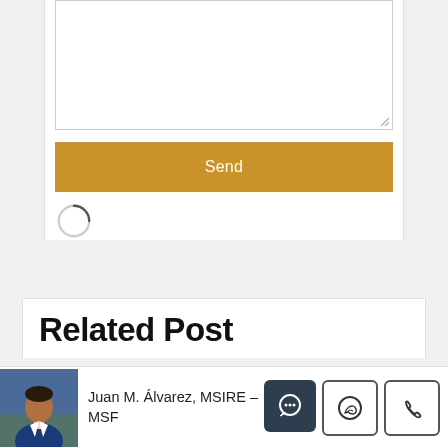[Figure (screenshot): Empty textarea input box with resize handle at bottom right]
[Figure (screenshot): Gold/yellow 'Send' button]
[Figure (screenshot): Loading spinner circle icon]
Related Post
[Figure (photo): Headshot of Juan M. Álvarez, a man in a blue suit jacket, outdoors]
Juan M. Álvarez, MSIRE – MSF